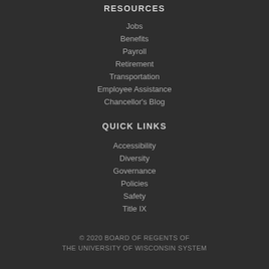RESOURCES
Jobs
Benefits
Payroll
Retirement
Transportation
Employee Assistance
Chancellor's Blog
QUICK LINKS
Accessibility
Diversity
Governance
Policies
Safety
Title IX
© 2020 BOARD OF REGENTS OF THE UNIVERSITY OF WISCONSIN SYSTEM